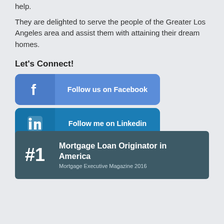help.
They are delighted to serve the people of the Greater Los Angeles area and assist them with attaining their dream homes.
Let's Connect!
[Figure (infographic): Three social media follow buttons: 'Follow us on Facebook' (blue, Facebook icon), 'Follow me on Linkedin' (dark blue, LinkedIn icon), 'Follow us on Twitter' (light blue, Twitter bird icon)]
[Figure (infographic): Award banner with dark teal background showing '#1 Mortgage Loan Originator in America, Mortgage Executive Magazine 2016']